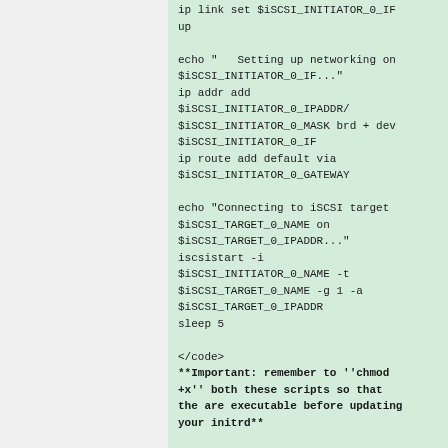ip link set $iSCSI_INITIATOR_0_IF up

echo "   Setting up networking on $iSCSI_INITIATOR_0_IF..."
ip addr add $iSCSI_INITIATOR_0_IPADDR/$iSCSI_INITIATOR_0_MASK brd + dev $iSCSI_INITIATOR_0_IF
ip route add default via $iSCSI_INITIATOR_0_GATEWAY

echo "Connecting to iSCSI target $iSCSI_TARGET_0_NAME on $iSCSI_TARGET_0_IPADDR..."
iscsistart -i $iSCSI_INITIATOR_0_NAME -t $iSCSI_TARGET_0_NAME -g 1 -a $iSCSI_TARGET_0_IPADDR
sleep 5

</code>
**Important: remember to ''chmod +x'' both these scripts so that the are executable before updating your initrd**